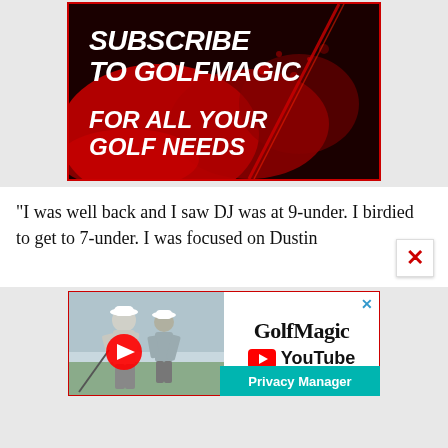[Figure (illustration): Subscribe to GolfMagic banner ad with bold white italic text on dark red/black background with red splatter design. Text reads: SUBSCRIBE TO GOLFMAGIC FOR ALL YOUR GOLF NEEDS]
"I was well back and I saw DJ was at 9-under. I birdied to get to 7-under. I was focused on Dustin
[Figure (screenshot): GolfMagic YouTube advertisement banner showing two golfers with a YouTube play button logo, GolfMagic branding, and a Privacy Manager button in teal at the bottom right.]